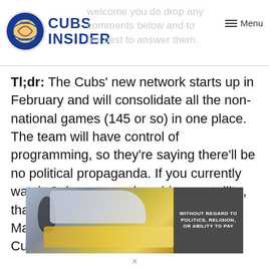Cubs Insider — welcome you do drop any comments below and to my best to answer them. Menu
Tl;dr: The Cubs' new network starts up in February and will consolidate all the non-national games (145 or so) in one place. The team will have control of programming, so they're saying there'll be no political propaganda. If you currently watch Cubs games via cable or satellite, that same provider will need to pick up Marquee in order for you to watch the Cubs. If you currently
[Figure (photo): Advertisement banner showing an airplane being loaded with cargo, with text overlay on the right side reading 'WITHOUT REGARD TO POLITICS, RELIGION, OR ABILITY TO PAY']